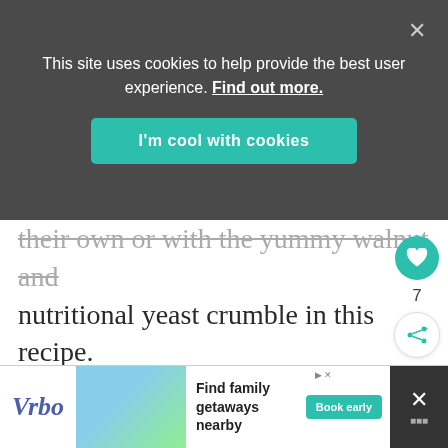This site uses cookies to help provide the best user experience. Find out more.
I'm cool with cookies
their own or with the yummy walnut and nutritional yeast crumble in this recipe.
7
[Figure (screenshot): Vrbo advertisement banner with beach house image, text 'Find family getaways nearby' and 'Book early' button]
Find family getaways nearby